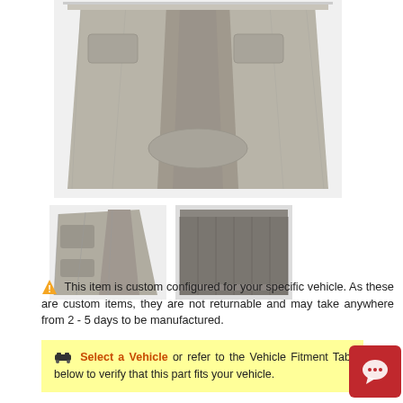[Figure (photo): Main product photo showing a gray/beige custom car carpet mat laid flat, showing contoured shape with heel pad areas and transmission tunnel cutout.]
[Figure (photo): Thumbnail photo of the car carpet mat folded/angled, showing the driver side with cutouts.]
[Figure (photo): Thumbnail photo showing close-up of dark gray carpet texture and edge binding.]
⚠ This item is custom configured for your specific vehicle. As these are custom items, they are not returnable and may take anywhere from 2 - 5 days to be manufactured.
🚗 Select a Vehicle or refer to the Vehicle Fitment Tab below to verify that this part fits your vehicle.